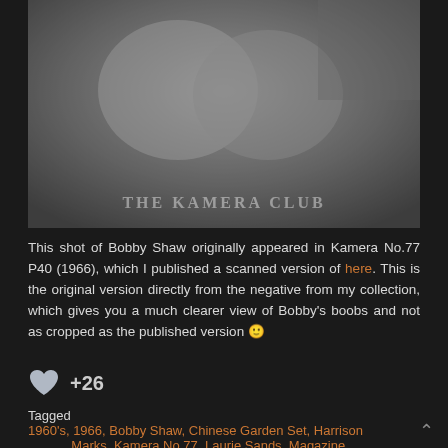[Figure (photo): Black and white photograph watermarked with 'THE KAMERA CLUB' at the bottom]
This shot of Bobby Shaw originally appeared in Kamera No.77 P40 (1966), which I published a scanned version of here. This is the original version directly from the negative from my collection, which gives you a much clearer view of Bobby's boobs and not as cropped as the published version 🙂
+26
Tagged   1960's, 1966, Bobby Shaw, Chinese Garden Set, Harrison Marks, Kamera No.77, Laurie Sands, Magazine Appearance,